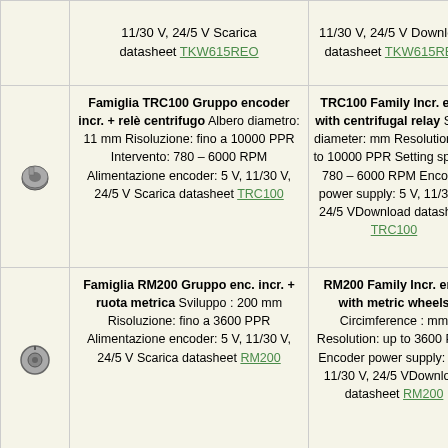| Icon | Italian Description | English Description |
| --- | --- | --- |
| [icon] | 11/30 V, 24/5 V Scarica datasheet TKW615REO | 11/30 V, 24/5 V Download datasheet TKW615REO |
| [encoder icon] | Famiglia TRC100 Gruppo encoder incr. + relè centrifugo Albero diametro: 11 mm Risoluzione: fino a 10000 PPR Intervento: 780 – 6000 RPM Alimentazione encoder: 5 V, 11/30 V, 24/5 V Scarica datasheet TRC100 | TRC100 Family Incr. enc. with centrifugal relay Shaft diameter: mm Resolution: up to 10000 PPR Setting speed: 780 – 6000 RPM Encoder power supply: 5 V, 11/30 V, 24/5 V Download datasheet TRC100 |
| [rm200 icon] | Famiglia RM200 Gruppo enc. incr. + ruota metrica Sviluppo : 200 mm Risoluzione: fino a 3600 PPR Alimentazione encoder: 5 V, 11/30 V, 24/5 V Scarica datasheet RM200 | RM200 Family Incr. enc. with metric wheels Circimference : mm Resolution: up to 3600 PPR Encoder power supply: 5 V, 11/30 V, 24/5 V Download datasheet RM200 |
| [rs500 icon] | Famiglia RS500 Gruppo enc. incr. | RS500 Family Incr. enc. with |